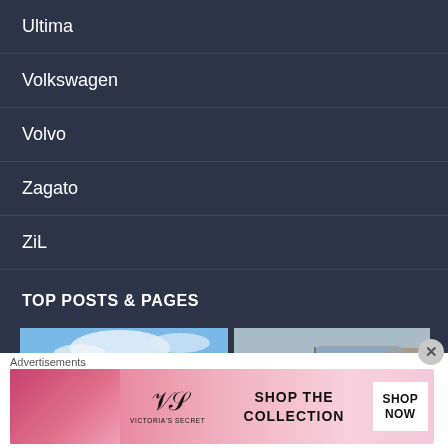Ultima
Volkswagen
Volvo
Zagato
ZiL
TOP POSTS & PAGES
[Figure (photo): Photo of a dark sports car with open top, blue sky with clouds in background]
[Figure (photo): Photo of a silver/grey car, trees in background]
Advertisements
[Figure (photo): Victoria's Secret advertisement banner with model, VS logo, 'SHOP THE COLLECTION' text and 'SHOP NOW' button]